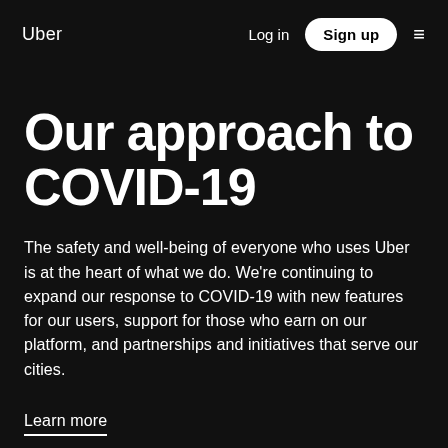Uber   Log in   Sign up   ≡
Our approach to COVID-19
The safety and well-being of everyone who uses Uber is at the heart of what we do. We're continuing to expand our response to COVID-19 with new features for our users, support for those who earn on our platform, and partnerships and initiatives that serve our cities.
Learn more